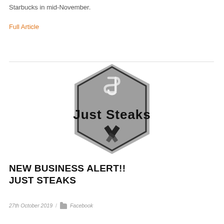Starbucks in mid-November.
Full Article
[Figure (logo): Just Steaks logo — a grey hexagonal badge shape with 'JS' monogram at top and crossed meat cleavers at bottom, with the text 'Just Steaks' in handwritten script in the center]
NEW BUSINESS ALERT!!
JUST STEAKS
27th October 2019   /   Facebook